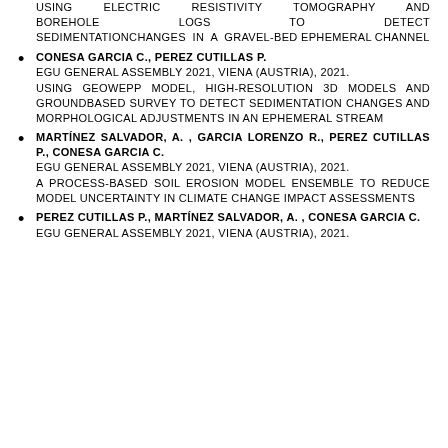USING ELECTRIC RESISTIVITY TOMOGRAPHY AND BOREHOLE LOGS TO DETECT SEDIMENTATIONCHANGES IN A GRAVEL-BED EPHEMERAL CHANNEL
CONESA GARCIA C., PEREZ CUTILLAS P. EGU GENERAL ASSEMBLY 2021, VIENA (AUSTRIA), 2021. USING GEOWEPP MODEL, HIGH-RESOLUTION 3D MODELS AND GROUNDBASED SURVEY TO DETECT SEDIMENTATION CHANGES AND MORPHOLOGICAL ADJUSTMENTS IN AN EPHEMERAL STREAM
MARTÍNEZ SALVADOR, A. , GARCIA LORENZO R., PEREZ CUTILLAS P., CONESA GARCIA C. EGU GENERAL ASSEMBLY 2021, VIENA (AUSTRIA), 2021. A PROCESS-BASED SOIL EROSION MODEL ENSEMBLE TO REDUCE MODEL UNCERTAINTY IN CLIMATE CHANGE IMPACT ASSESSMENTS
PEREZ CUTILLAS P., MARTÍNEZ SALVADOR, A. , CONESA GARCIA C. EGU GENERAL ASSEMBLY 2021, VIENA (AUSTRIA), 2021.